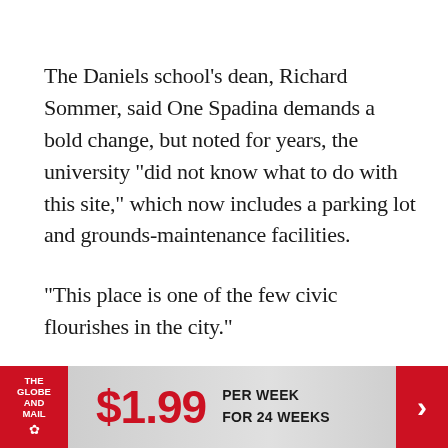The Daniels school's dean, Richard Sommer, said One Spadina demands a bold change, but noted for years, the university "did not know what to do with this site," which now includes a parking lot and grounds-maintenance facilities.
"This place is one of the few civic flourishes in the city."
NADAAA's plan will restore the Knox College building and add a large new wing on the back with lecture and studio space, a library, a public hall, a digital fabrication workshop – all in an irregularly
[Figure (other): Globe and Mail advertisement banner: red logo on left, '$1.99 PER WEEK FOR 24 WEEKS' offer in center, red arrow chevron on right]